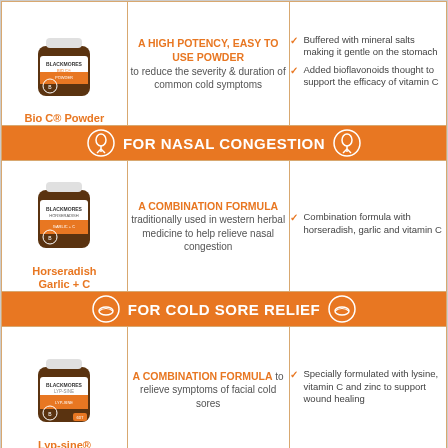[Figure (photo): Blackmores Bio C Powder product bottle]
A HIGH POTENCY, EASY TO USE POWDER to reduce the severity & duration of common cold symptoms
Buffered with mineral salts making it gentle on the stomach
Added bioflavonoids thought to support the efficacy of vitamin C
Bio C® Powder
FOR NASAL CONGESTION
[Figure (photo): Blackmores Horseradish Garlic + C product bottle]
A COMBINATION FORMULA traditionally used in western herbal medicine to help relieve nasal congestion
Combination formula with horseradish, garlic and vitamin C
Horseradish Garlic + C
FOR COLD SORE RELIEF
[Figure (photo): Blackmores Lyp-sine product bottle]
A COMBINATION FORMULA to relieve symptoms of facial cold sores
Specially formulated with lysine, vitamin C and zinc to support wound healing
Lyp-sine®